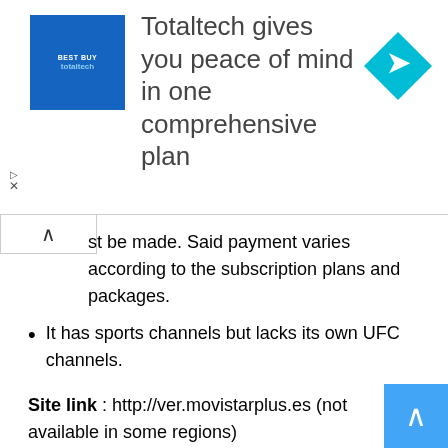[Figure (screenshot): Advertisement banner: Totaltech logo on blue square background, text 'Totaltech gives you peace of mind in one comprehensive plan', blue diamond navigation icon on right]
st be made. Said payment varies according to the subscription plans and packages.
It has sports channels but lacks its own UFC channels.
Site link : http://ver.movistarplus.es (not available in some regions)
Network Stream
Networkstream.live stands as one of the oldest interfaces in the cyberworld. It offers a varied quality of links to see the best fights in the UFC today. In addition, the platform consists of a virus-free environment and little advertising. If you want to enjoy the fights, comfortably, enter here, now.